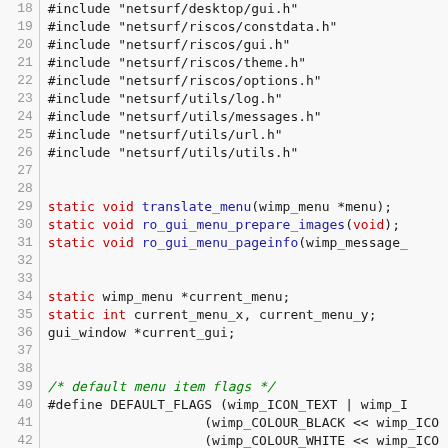Source code listing lines 18-47 of a C file (netsurf browser)